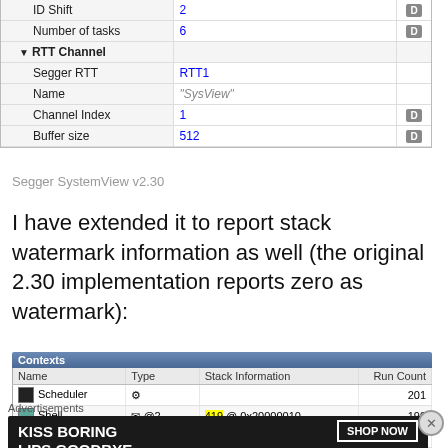| Property | Value |  |
| --- | --- | --- |
| ID Shift | 2 | D |
| Number of tasks | 6 | D |
| RTT Channel |  |  |
| Segger RTT | RTT1 |  |
| Name | "SysView" |  |
| Channel Index | 1 | D |
| Buffer size | 512 | D |
Segger SystemView v2.30
I have extended it to report stack watermark information as well (the original 2.30 implementation reports zero as watermark):
[Figure (screenshot): Contexts table showing Name, Type, Stack Information, Run Count columns with rows: Scheduler (201), Shell @2 (419 @ 0x20000010, 199), BleUart @1 (176 @ 0x20000848, 2), IDLE @0 (181 @ 0x20000d60, 0)]
[Figure (photo): Macy's advertisement banner: KISS BORING LIPS GOODBYE with SHOP NOW button]